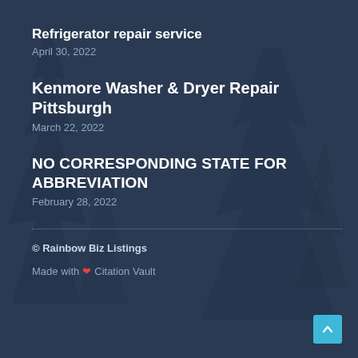Refrigerator repair service
April 30, 2022
Kenmore Washer & Dryer Repair Pittsburgh
March 22, 2022
NO CORRESPONDING STATE FOR ABBREVIATION
February 28, 2022
© Rainbow Biz Listings
Made with ❤ Citation Vault